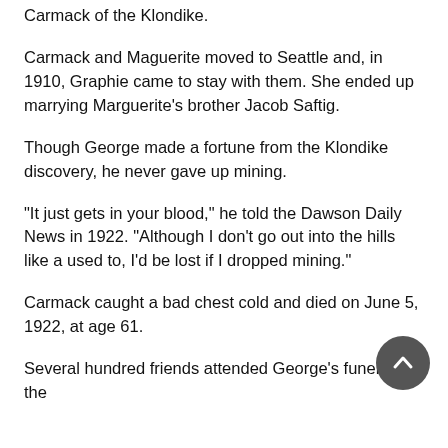Carmack of the Klondike.
Carmack and Maguerite moved to Seattle and, in 1910, Graphie came to stay with them. She ended up marrying Marguerite's brother Jacob Saftig.
Though George made a fortune from the Klondike discovery, he never gave up mining.
“It just gets in your blood,” he told the Dawson Daily News in 1922. “Although I don’t go out into the hills like a used to, I’d be lost if I dropped mining.”
Carmack caught a bad chest cold and died on June 5, 1922, at age 61.
Several hundred friends attended George’s funeral at the